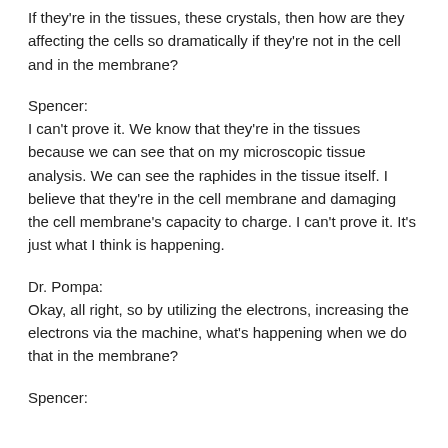If they're in the tissues, these crystals, then how are they affecting the cells so dramatically if they're not in the cell and in the membrane?
Spencer:
I can't prove it. We know that they're in the tissues because we can see that on my microscopic tissue analysis. We can see the raphides in the tissue itself. I believe that they're in the cell membrane and damaging the cell membrane's capacity to charge. I can't prove it. It's just what I think is happening.
Dr. Pompa:
Okay, all right, so by utilizing the electrons, increasing the electrons via the machine, what's happening when we do that in the membrane?
Spencer: